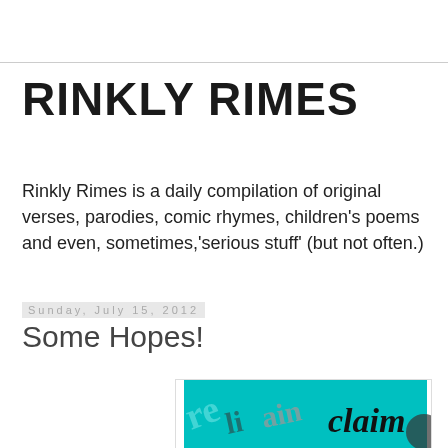RINKLY RIMES
Rinkly Rimes is a daily compilation of original verses, parodies, comic rhymes, children's poems and even, sometimes,'serious stuff' (but not often.)
Sunday, July 15, 2012
Some Hopes!
[Figure (illustration): Teal banner image with various words overlapping including 're', 'li', 'ain', and 'claim' in different fonts and orientations]